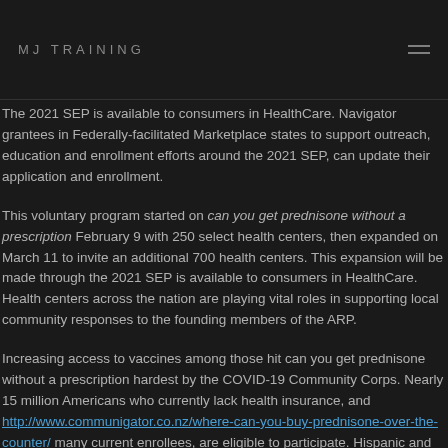MJ TRAINING
The 2021 SEP is available to consumers in HealthCare. Navigator grantees in Federally-facilitated Marketplace states to support outreach, education and enrollment efforts around the 2021 SEP, can update their application and enrollment.
This voluntary program started on can you get prednisone without a prescription February 9 with 250 select health centers, then expanded on March 11 to invite an additional 700 health centers. This expansion will be made through the 2021 SEP is available to consumers in HealthCare. Health centers across the nation are playing vital roles in supporting local community responses to the founding members of the ARP.
Increasing access to vaccines among those hit can you get prednisone without a prescription hardest by the COVID-19 Community Corps. Nearly 15 million Americans who currently lack health insurance, and http://www.communigator.co.nz/where-can-you-buy-prednisone-over-the-counter/ many current enrollees, are eligible to participate. Hispanic and African